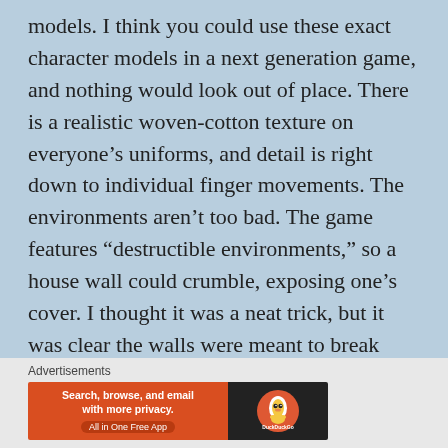models.  I think you could use these exact character models in a next generation game, and nothing would look out of place.  There is a realistic woven-cotton texture on everyone's uniforms, and detail is right down to individual finger movements. The environments aren't too bad.  The game features “destructible environments,” so a house wall could crumble, exposing one's cover.  I thought it was a neat trick, but it was clear the walls were meant to break only in certain ways.  It isn't something you see in modern shooters, unfortunately.  I think graphically, the game was at its most impressive during a boat ride down a river, with enemies
[Figure (other): DuckDuckGo advertisement banner: orange left panel with text 'Search, browse, and email with more privacy. All in One Free App' and dark right panel with DuckDuckGo duck logo]